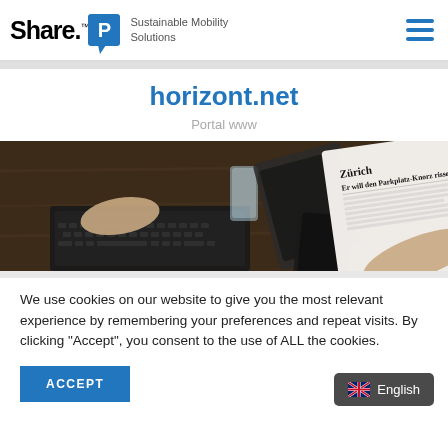Share.P — Sustainable Mobility Solutions
horizont.net
Portal www
[Figure (photo): Newspaper with headline 'Zürich: Er will den Parkplatz-Knorr rissen' held in hands over a table with laptop, tablet, phone and glass of water.]
We use cookies on our website to give you the most relevant experience by remembering your preferences and repeat visits. By clicking “Accept”, you consent to the use of ALL the cookies.
ACCEPT
English